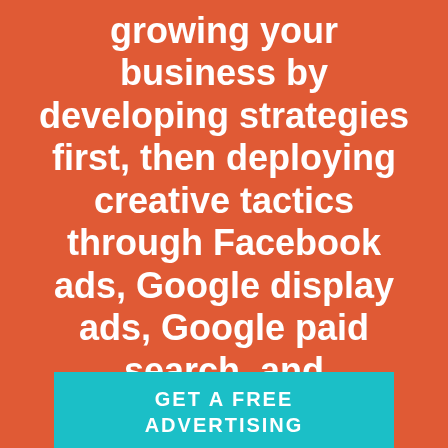growing your business by developing strategies first, then deploying creative tactics through Facebook ads, Google display ads, Google paid search, and Instagram.
GET A FREE ADVERTISING